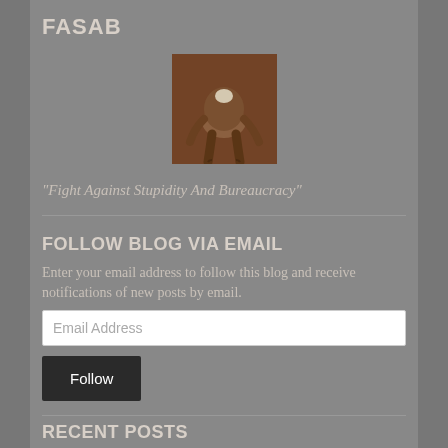FASAB
[Figure (photo): A sepia-toned photo of a person bending forward with hands on knees, viewed from behind, wearing a brown jacket and pants.]
"Fight Against Stupidity And Bureaucracy"
FOLLOW BLOG VIA EMAIL
Enter your email address to follow this blog and receive notifications of new posts by email.
Email Address
Follow
RECENT POSTS